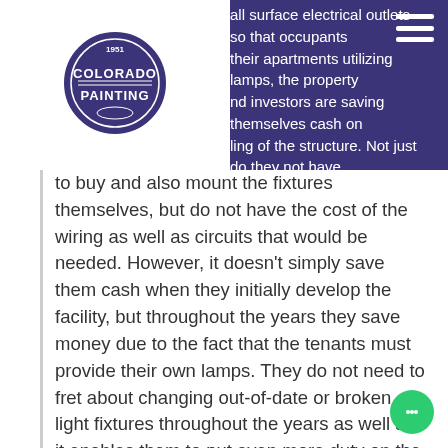all surface electrical outlets so that occupants their apartments utilizing lamps, the property nd investors are saving themselves cash on ling of the structure. Not just do they not have
[Figure (logo): Colorado Painting company logo — circular badge with text COLORADO PAINTING and year 1951]
to buy and also mount the fixtures themselves, but do not have the cost of the wiring as well as circuits that would be needed. However, it doesn't simply save them cash when they initially develop the facility, but throughout the years they save money due to the fact that the tenants must provide their own lamps. They do not need to fret about changing out-of-date or broken light fixtures throughout the years as well as it enables them to put even more duty on the tenants. Style: This is related to the truth that occupants have to supply their own lights. I think property owners like apartments to have insides that are stylistically neutral to ensure that a possible renter can enhance however they want. It is simpler to attract tenants if they aren't pushed into design options by the existing interior decoration. So, by removing light fixtures from the equation, they are making the style a little bit a lot more common to